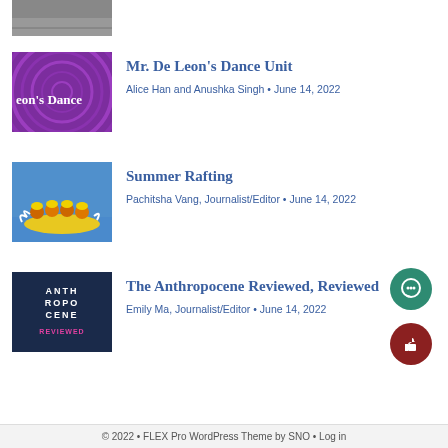[Figure (photo): Partial top image showing what appears to be a fishing or outdoor scene, cropped at top]
[Figure (illustration): Purple circular concentric pattern thumbnail with text 'eon's Dance']
Mr. De Leon's Dance Unit
Alice Han and Anushka Singh • June 14, 2022
[Figure (photo): Photo of people in yellow helmets and life vests rafting on white water rapids in yellow raft]
Summer Rafting
Pachitsha Vang, Journalist/Editor • June 14, 2022
[Figure (logo): Dark navy blue square logo with text ANTHROPOCENE REVIEWED in white letters, REVIEWED in pink]
The Anthropocene Reviewed, Reviewed
Emily Ma, Journalist/Editor • June 14, 2022
© 2022 • FLEX Pro WordPress Theme by SNO • Log in